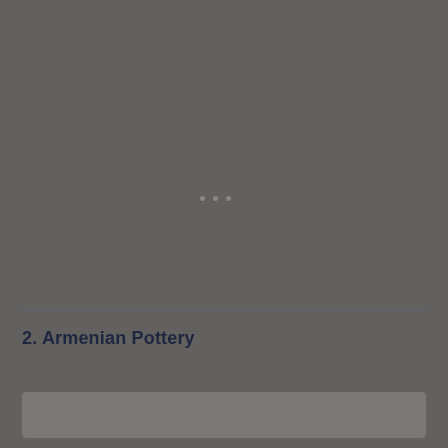[Figure (other): Three small dots centered near top area, decorative page indicator or loading indicator on dark gray background]
2. Armenian Pottery
[Figure (photo): A partially visible image at the bottom of the page, showing a lighter gray/beige rectangular area, likely a photo placeholder or partially loaded image]